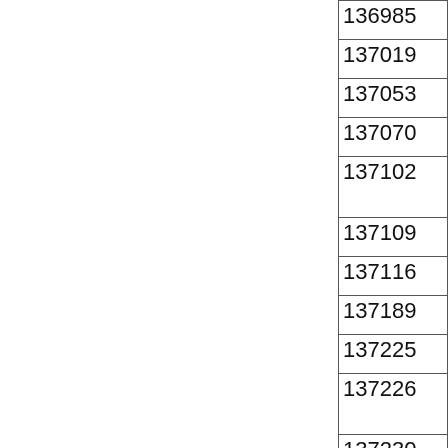| 136985 |
| 137019 |
| 137053 |
| 137070 |
| 137102 |
| 137109 |
| 137116 |
| 137189 |
| 137225 |
| 137226 |
| 137230 |
| 137447 |
| 13774... |